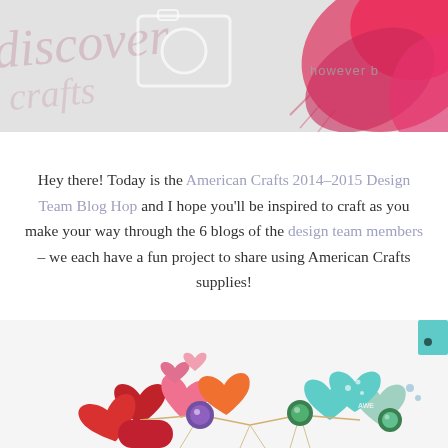[Figure (photo): Blog header image with camera logo outline on gray background, cursive script text overlay, and pink watercolor/ink splash on the right side]
Hey there! Today is the American Crafts 2014-2015 Design Team Blog Hop and I hope you'll be inspired to craft as you make your way through the 6 blogs of the design team members – we each have a fun project to share using American Crafts supplies!
[Figure (photo): Crafting project photo showing colorful paper hearts and decorative elements in red, orange, pink, teal and other colors, with string/twine connections and gem embellishments, on a light background]